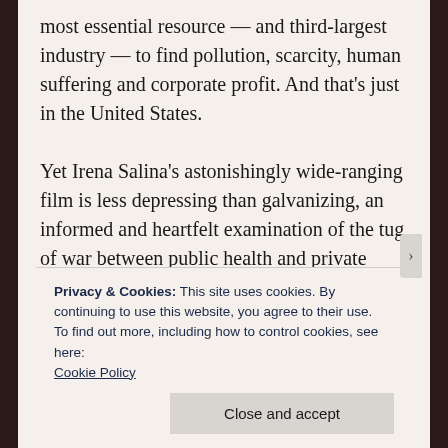most essential resource — and third-largest industry — to find pollution, scarcity, human suffering and corporate profit. And that's just in the United States.

Yet Irena Salina's astonishingly wide-ranging film is less depressing than galvanizing, an informed and heartfelt examination of the tug of war between public health and private interests. From the dubious quality of our tap
Privacy & Cookies: This site uses cookies. By continuing to use this website, you agree to their use.
To find out more, including how to control cookies, see here:
Cookie Policy
Close and accept